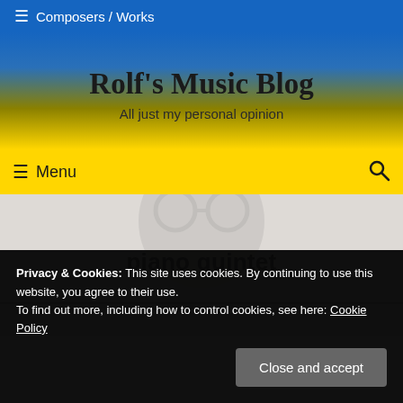≡ Composers / Works
Rolf's Music Blog
All just my personal opinion
≡ Menu
piano quintet
Privacy & Cookies: This site uses cookies. By continuing to use this website, you agree to their use.
To find out more, including how to control cookies, see here: Cookie Policy
Close and accept